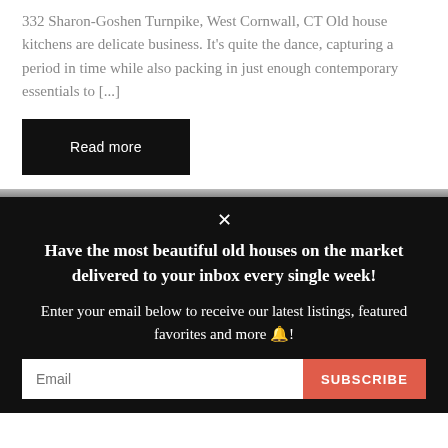332 Sharon-Goshen Turnpike, West Cornwall, CT Old house kitchens are delicate business. It's quite the dance, capturing a period in time while also packing in just enough contemporary essentials to [...]
Read more
Have the most beautiful old houses on the market delivered to your inbox every single week!
Enter your email below to receive our latest listings, featured favorites and more 🔔!
Email
SUBSCRIBE